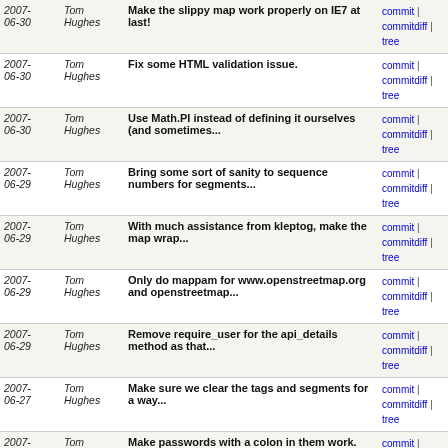| Date | Author | Message | Links |
| --- | --- | --- | --- |
| 2007-06-30 | Tom Hughes | Make the slippy map work properly on IE7 at last! | commit | commitdiff | tree |
| 2007-06-30 | Tom Hughes | Fix some HTML validation issue. | commit | commitdiff | tree |
| 2007-06-30 | Tom Hughes | Use Math.PI instead of defining it ourselves (and sometimes... | commit | commitdiff | tree |
| 2007-06-29 | Tom Hughes | Bring some sort of sanity to sequence numbers for segments... | commit | commitdiff | tree |
| 2007-06-29 | Tom Hughes | With much assistance from kleptog, make the map wrap... | commit | commitdiff | tree |
| 2007-06-29 | Tom Hughes | Only do mappam for www.openstreetmap.org and openstreetmap... | commit | commitdiff | tree |
| 2007-06-29 | Tom Hughes | Remove require_user for the api_details method as that... | commit | commitdiff | tree |
| 2007-06-27 | Tom Hughes | Make sure we clear the tags and segments for a way... | commit | commitdiff | tree |
| 2007-06-27 | Tom Hughes | Make passwords with a colon in them work. | commit | commitdiff | tree |
| 2007-06-27 | Tom Hughes | Make negative caching of users work. | commit | commitdiff | tree |
| 2007-06-27 | Tom Hughes | Fix deprecation warning. | commit | commitdiff | tree |
| 2007-06-27 | Tom Hughes | More search fixes... | commit | commitdiff | tree |
| 2007-06-27 | Tom Hughes | Fix way search. | commit | commitdiff | tree |